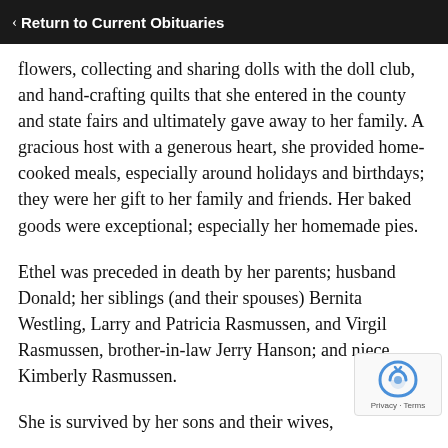‹ Return to Current Obituaries
flowers, collecting and sharing dolls with the doll club, and hand-crafting quilts that she entered in the county and state fairs and ultimately gave away to her family. A gracious host with a generous heart, she provided home-cooked meals, especially around holidays and birthdays; they were her gift to her family and friends. Her baked goods were exceptional; especially her homemade pies.
Ethel was preceded in death by her parents; husband Donald; her siblings (and their spouses) Bernita Westling, Larry and Patricia Rasmussen, and Virgil Rasmussen, brother-in-law Jerry Hanson; and niece Kimberly Rasmussen.
She is survived by her sons and their wives,